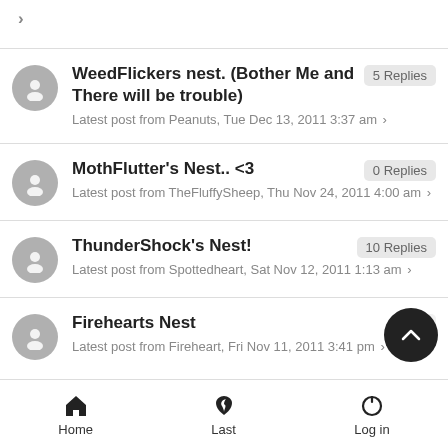> (chevron/arrow)
WeedFlickers nest. (Bother Me and There will be trouble)
Latest post from Peanuts, Tue Dec 13, 2011 3:37 am > | 5 Replies
MothFlutter's Nest.. <3
Latest post from TheFluffySheep, Thu Nov 24, 2011 4:00 am > | 0 Replies
ThunderShock's Nest!
Latest post from Spottedheart, Sat Nov 12, 2011 1:13 am > | 10 Replies
Firehearts Nest
Latest post from Fireheart, Fri Nov 11, 2011 3:41 pm > | 25 Replies
Home   Last   Log in